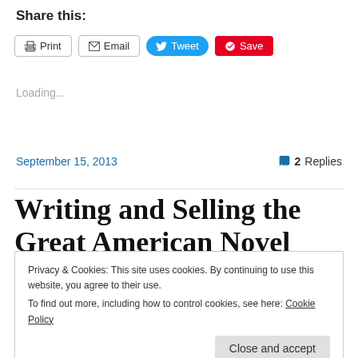Share this:
Print  Email  Tweet  Save
Loading...
September 15, 2013  2 Replies
Writing and Selling the Great American Novel
Privacy & Cookies: This site uses cookies. By continuing to use this website, you agree to their use.
To find out more, including how to control cookies, see here: Cookie Policy
Close and accept
[Figure (other): Book banner image showing 'Writing and' text on dark blue background]